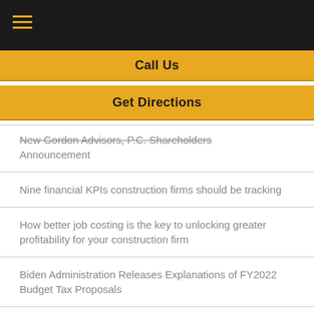Call Us
Get Directions
New Gordon Advisors, P.C. Shareholders Announcement
Nine financial KPIs construction firms should be tracking
How better job costing is the key to unlocking greater profitability for your construction firm
Biden Administration Releases Explanations of FY2022 Budget Tax Proposals
What Businesses and Individuals Should Know for the 2020-2021 Tax Season